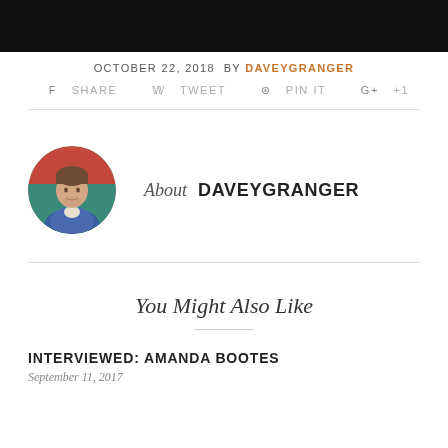OCTOBER 22, 2018 By DAVEYGRANGER
SHARE   TWEET   PIN IT   G+ +1
[Figure (photo): Circular avatar photo of a man in a blue denim jacket against a colorful wall]
About DAVEYGRANGER
You Might Also Like
INTERVIEWED: AMANDA BOOTES
September 11, 2017